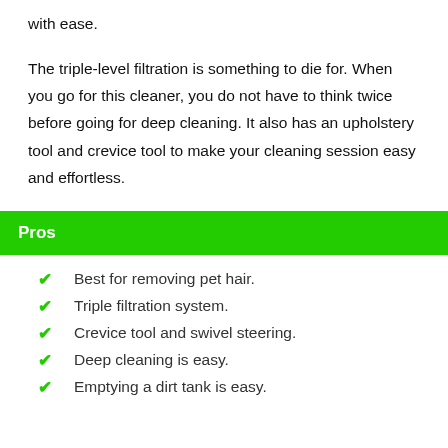with ease.
The triple-level filtration is something to die for. When you go for this cleaner, you do not have to think twice before going for deep cleaning. It also has an upholstery tool and crevice tool to make your cleaning session easy and effortless.
Pros
Best for removing pet hair.
Triple filtration system.
Crevice tool and swivel steering.
Deep cleaning is easy.
Emptying a dirt tank is easy.